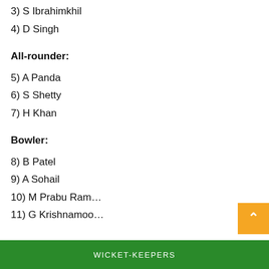3) S Ibrahimkhil
4) D Singh
All-rounder:
5) A Panda
6) S Shetty
7) H Khan
Bowler:
8) B Patel
9) A Sohail
10) M Prabu Ram…
11) G Krishnamoo…
WICKET-KEEPERS